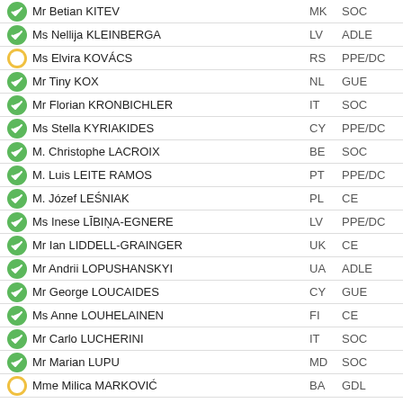Mr Betian KITEV | MK | SOC
Ms Nellija KLEINBERGA | LV | ADLE
Ms Elvira KOVÁCS | RS | PPE/DC
Mr Tiny KOX | NL | GUE
Mr Florian KRONBICHLER | IT | SOC
Ms Stella KYRIAKIDES | CY | PPE/DC
M. Christophe LACROIX | BE | SOC
M. Luis LEITE RAMOS | PT | PPE/DC
M. Józef LEŚNIAK | PL | CE
Ms Inese LĪBIŅA-EGNERE | LV | PPE/DC
Mr Ian LIDDELL-GRAINGER | UK | CE
Mr Andrii LOPUSHANSKYI | UA | ADLE
Mr George LOUCAIDES | CY | GUE
Ms Anne LOUHELAINEN | FI | CE
Mr Carlo LUCHERINI | IT | SOC
Mr Marian LUPU | MD | SOC
Mme Milica MARKOVIĆ | BA | GDL